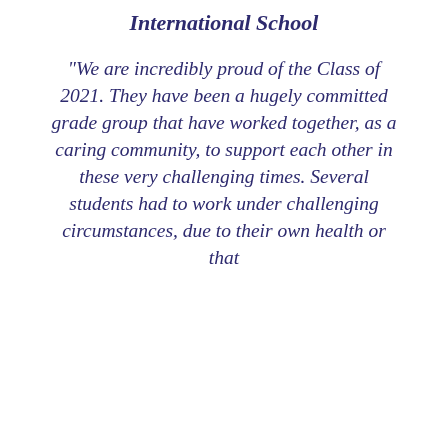International School
"We are incredibly proud of the Class of 2021. They have been a hugely committed grade group that have worked together, as a caring community, to support each other in these very challenging times. Several students had to work under challenging circumstances, due to their own health or that